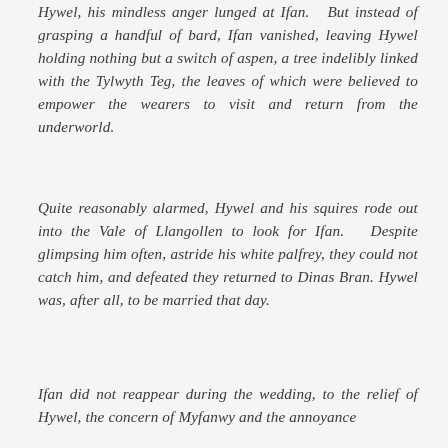Hywel, his mindless anger lunged at Ifan. But instead of grasping a handful of bard, Ifan vanished, leaving Hywel holding nothing but a switch of aspen, a tree indelibly linked with the Tylwyth Teg, the leaves of which were believed to empower the wearers to visit and return from the underworld.
Quite reasonably alarmed, Hywel and his squires rode out into the Vale of Llangollen to look for Ifan. Despite glimpsing him often, astride his white palfrey, they could not catch him, and defeated they returned to Dinas Bran. Hywel was, after all, to be married that day.
Ifan did not reappear during the wedding, to the relief of Hywel, the concern of Myfanwy and the annoyance